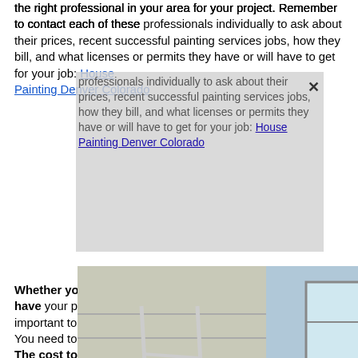the right professional in your area for your project. Remember to contact each of these professionals individually to ask about their prices, recent successful painting services jobs, how they bill, and what licenses or permits they have or will have to get for your job: House Painting Denver Colorado
[Figure (photo): Three side-by-side photos: left shows a person falling off a ladder against a house siding, center shows a person climbing on the side of a brick house, right shows a person falling inside a room near a ladder/equipment]
Whether you decide to do the preparation work yourself or have your painting contractor handle the prep properly, it is important to prepare the surface for a smooth paint job. You need to remove loose paint, old, or chipping paint. The cost to repaint your house depends on your home's exterior condition. Costs may vary by... House Painting... On average... per foot for exterior... across the country is $30–$40 per hour before you pay for paint, painting supplies, location costs, and equipment. To get a very general estimate, though, painting contractors will take into account the square footage of your home and the number of stories and